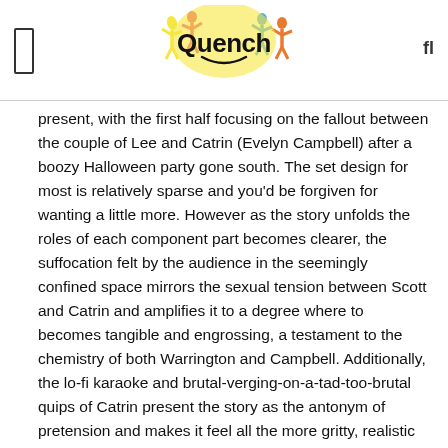Quench
present, with the first half focusing on the fallout between the couple of Lee and Catrin (Evelyn Campbell) after a boozy Halloween party gone south. The set design for most is relatively sparse and you'd be forgiven for wanting a little more. However as the story unfolds the roles of each component part becomes clearer, the suffocation felt by the audience in the seemingly confined space mirrors the sexual tension between Scott and Catrin and amplifies it to a degree where to becomes tangible and engrossing, a testament to the chemistry of both Warrington and Campbell. Additionally, the lo-fi karaoke and brutal-verging-on-a-tad-too-brutal quips of Catrin present the story as the antonym of pretension and makes it feel all the more gritty, realistic portrayal of your average night down the town.